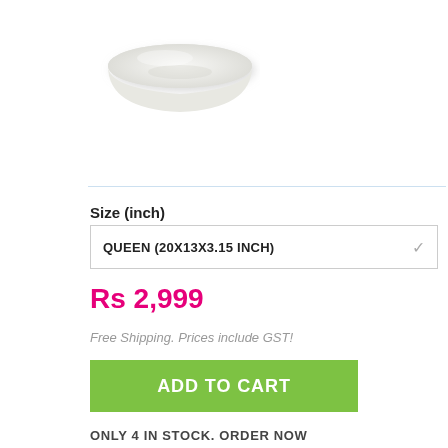[Figure (photo): A white memory foam pillow viewed from an angle, showing its contoured rectangular shape against a white background.]
Size (inch)
QUEEN (20X13X3.15 INCH)
Rs 2,999
Free Shipping. Prices include GST!
ADD TO CART
ONLY 4 IN STOCK. ORDER NOW